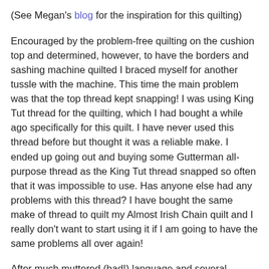(See Megan's blog for the inspiration for this quilting)
Encouraged by the problem-free quilting on the cushion top and determined, however, to have the borders and sashing machine quilted I braced myself for another tussle with the machine. This time the main problem was that the top thread kept snapping! I was using King Tut thread for the quilting, which I had bought a while ago specifically for this quilt. I have never used this thread before but thought it was a reliable make. I ended up going out and buying some Gutterman all-purpose thread as the King Tut thread snapped so often that it was impossible to use. Has anyone else had any problems with this thread? I have bought the same make of thread to quilt my Almost Irish Chain quilt and I really don't want to start using it if I am going to have the same problems all over again!
After much muttered (bad!) language and several inadvertent tucks the quilting was eventually finished. It certainly doesn't bear any close scrutiny but it will definitely keep us warm at night when the temperature drops, which is what it is for.